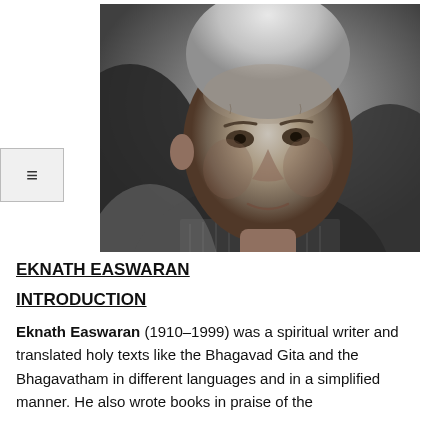[Figure (photo): Black and white portrait photograph of Eknath Easwaran, an elderly Indian man with white hair wearing a turtleneck sweater, looking slightly to the side.]
EKNATH EASWARAN
INTRODUCTION
Eknath Easwaran (1910–1999) was a spiritual writer and translated holy texts like the Bhagavad Gita and the Bhagavatham in different languages and in a simplified manner. He also wrote books in praise of the